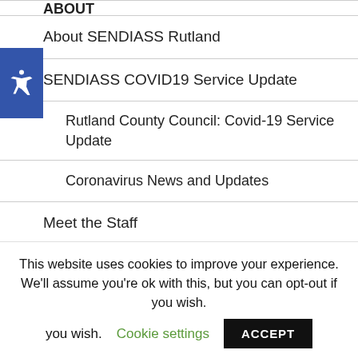About SENDIASS Rutland
SENDIASS COVID19 Service Update
Rutland County Council: Covid-19 Service Update
Coronavirus News and Updates
Meet the Staff
Contact Us
Policies & Procedures
This website uses cookies to improve your experience. We'll assume you're ok with this, but you can opt-out if you wish. Cookie settings ACCEPT